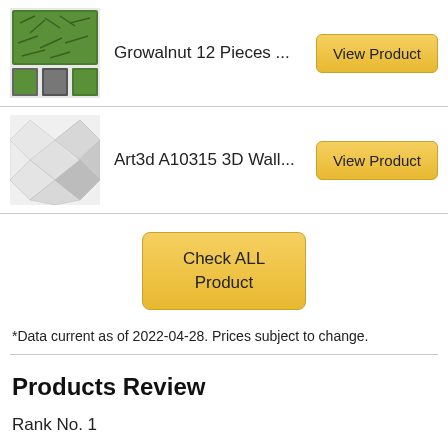[Figure (photo): Product image of Growalnut 12 Pieces artificial hedge panels, showing green boxwood wall panels and smaller thumbnail images]
Growalnut 12 Pieces ...
View Product
[Figure (photo): Product image of Art3d A10315 3D Wall panels, showing white geometric diamond-pattern 3D wall tiles]
Art3d A10315 3D Wall...
View Product
Check ALL Product
*Data current as of 2022-04-28. Prices subject to change.
Products Review
Rank No. 1